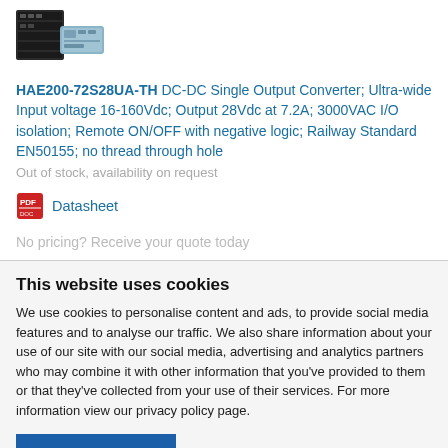[Figure (photo): Product image showing DC-DC converter hardware devices]
HAE200-72S28UA-TH DC-DC Single Output Converter; Ultra-wide Input voltage 16-160Vdc; Output 28Vdc at 7.2A; 3000VAC I/O isolation; Remote ON/OFF with negative logic; Railway Standard EN50155; no thread through hole
Out of stock, availability on request
Datasheet
No pricing? Receive your quote today
This website uses cookies
We use cookies to personalise content and ads, to provide social media features and to analyse our traffic. We also share information about your use of our site with our social media, advertising and analytics partners who may combine it with other information that you've provided to them or that they've collected from your use of their services. For more information view our privacy policy page.
OK
Show details